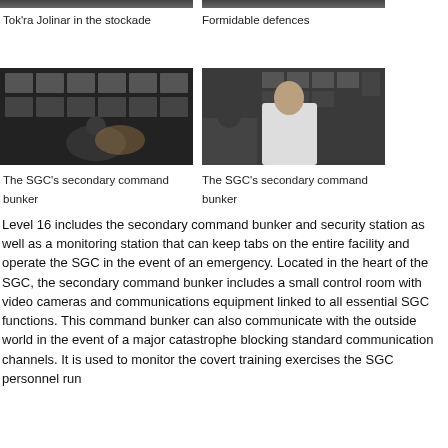[Figure (photo): Tok'ra Jolinar in the stockade - screenshot from TV show]
Tok'ra Jolinar in the stockade
[Figure (photo): Formidable defences - screenshot from TV show]
Formidable defences
[Figure (photo): The SGC's secondary command bunker - person at multiple monitors]
The SGC's secondary command bunker
[Figure (photo): The SGC's secondary command bunker - officer in white uniform]
The SGC's secondary command bunker
Level 16 includes the secondary command bunker and security station as well as a monitoring station that can keep tabs on the entire facility and operate the SGC in the event of an emergency. Located in the heart of the SGC, the secondary command bunker includes a small control room with video cameras and communications equipment linked to all essential SGC functions. This command bunker can also communicate with the outside world in the event of a major catastrophe blocking standard communication channels. It is used to monitor the covert training exercises the SGC personnel run